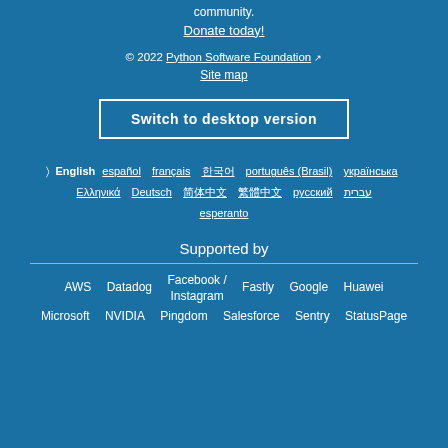community.
Donate today!
© 2022 Python Software Foundation
Site map
Switch to desktop version
English  español  français  한국어  português (Brasil)  українська  Ελληνικά  Deutsch  简体中文  繁體中文  русский  עברית  esperanto
Supported by
AWS  Datadog  Facebook / Instagram  Fastly  Google  Huawei  Microsoft  NVIDIA  Pingdom  Salesforce  Sentry  StatusPage